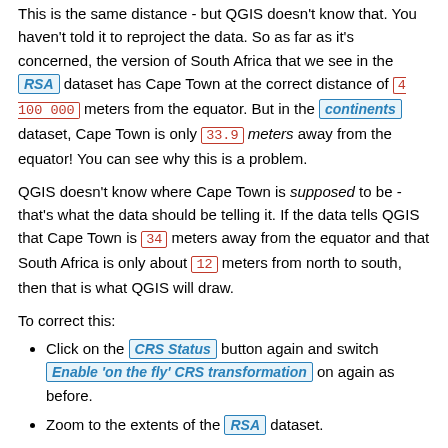This is the same distance - but QGIS doesn't know that. You haven't told it to reproject the data. So as far as it's concerned, the version of South Africa that we see in the RSA dataset has Cape Town at the correct distance of 4 100 000 meters from the equator. But in the continents dataset, Cape Town is only 33.9 meters away from the equator! You can see why this is a problem.
QGIS doesn't know where Cape Town is supposed to be - that's what the data should be telling it. If the data tells QGIS that Cape Town is 34 meters away from the equator and that South Africa is only about 12 meters from north to south, then that is what QGIS will draw.
To correct this:
Click on the CRS Status button again and switch Enable 'on the fly' CRS transformation on again as before.
Zoom to the extents of the RSA dataset.
Now, because they're made to project in the same CRS, the two datasets fit perfectly: